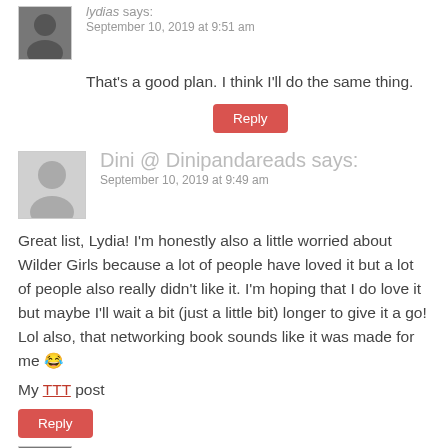lydias says:
September 10, 2019 at 9:51 am
That's a good plan. I think I'll do the same thing.
Reply
Dini @ Dinipandareads says:
September 10, 2019 at 9:49 am
Great list, Lydia! I'm honestly also a little worried about Wilder Girls because a lot of people have loved it but a lot of people also really didn't like it. I'm hoping that I do love it but maybe I'll wait a bit (just a little bit) longer to give it a go! Lol also, that networking book sounds like it was made for me 😂
My TTT post
Reply
lydias says: